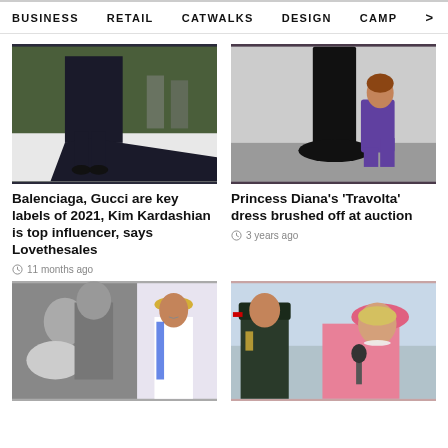BUSINESS   RETAIL   CATWALKS   DESIGN   CAMP >
[Figure (photo): Person in black outfit with long train at an event, green foliage background]
Balenciaga, Gucci are key labels of 2021, Kim Kardashian is top influencer, says Lovethesales
11 months ago
[Figure (photo): Woman in purple outfit kneeling beside a black velvet dress on display]
Princess Diana's 'Travolta' dress brushed off at auction
3 years ago
[Figure (photo): Collage of royal family photos - Meghan Markle with baby, Kate Middleton in wedding dress with tiara]
[Figure (photo): Princess Diana in pink outfit with military officer at public event]